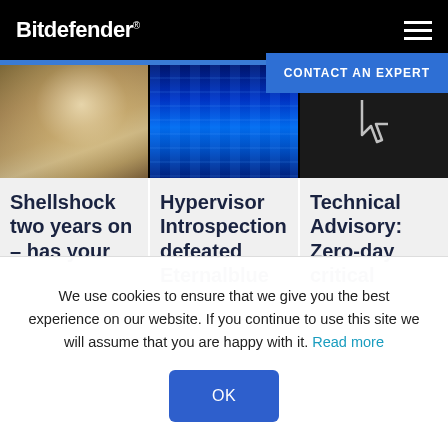Bitdefender
[Figure (screenshot): Navigation header with Bitdefender logo on black background and hamburger menu icon]
CONTACT AN EXPERT
[Figure (photo): Three card images side by side: sand and shell, blue neon liquid, dark background with hand cursor icon]
Shellshock two years on – has your
Hypervisor Introspection defeated Eternalblue
Technical Advisory: Zero-day critical
We use cookies to ensure that we give you the best experience on our website. If you continue to use this site we will assume that you are happy with it. Read more
OK